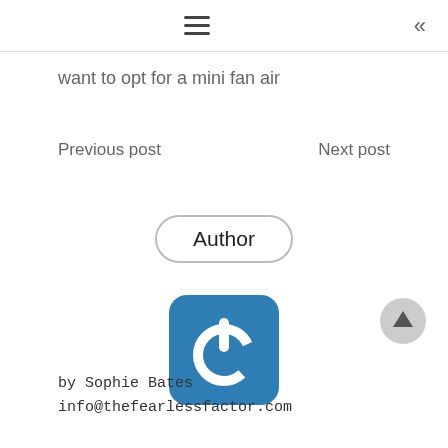≡  «
want to opt for a mini fan air
Previous post    Next post
Author
[Figure (logo): Blue rounded square icon with white power button symbol]
by Sophie Bates
info@thefearlessfactor.com